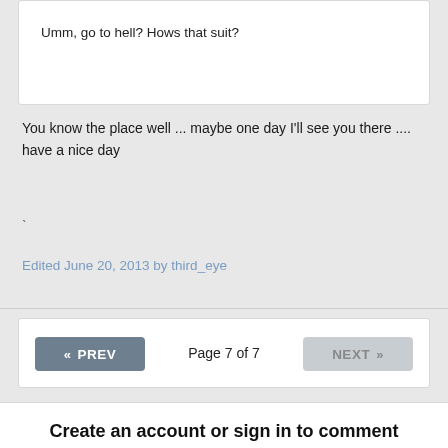Umm, go to hell? Hows that suit?
You know the place well ... maybe one day I'll see you there .... have a nice day
`
Edited June 20, 2013 by third_eye
« PREV   Page 7 of 7   NEXT »
Create an account or sign in to comment
You need to be a member in order to leave a comment
Create an account